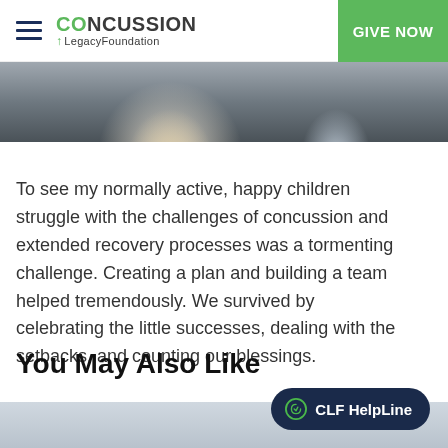CONCUSSION Legacy Foundation — GIVE NOW
[Figure (photo): Partial photo of people, cropped at top of page]
To see my normally active, happy children struggle with the challenges of concussion and extended recovery processes was a tormenting challenge. Creating a plan and building a team helped tremendously. We survived by celebrating the little successes, dealing with the setbacks, and counting our blessings.
You May Also Like
[Figure (photo): Partial photo visible at bottom of page]
CLF HelpLine